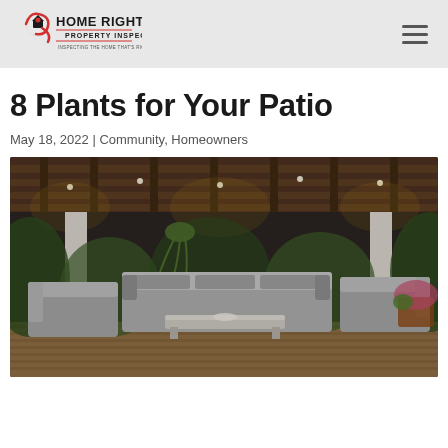HOME RIGHT PROPERTY INSPECTIONS — INSPECTING THE HOME THAT'S RIGHT FOR YOU
8 Plants for Your Patio
May 18, 2022 | Community, Homeowners
[Figure (photo): A illuminated outdoor patio at dusk with wicker sectional sofa and coffee table under a wooden pergola with string lights, surrounded by greenery.]